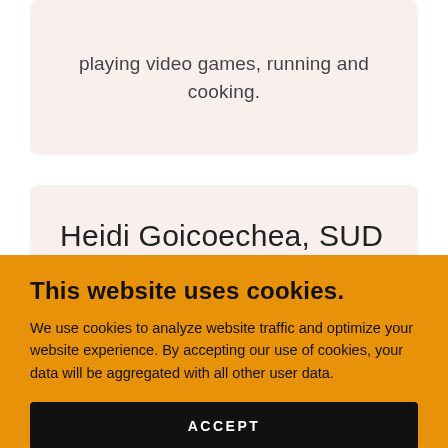playing video games, running and cooking.
Heidi Goicoechea, SUD CM
This website uses cookies.
We use cookies to analyze website traffic and optimize your website experience. By accepting our use of cookies, your data will be aggregated with all other user data.
ACCEPT